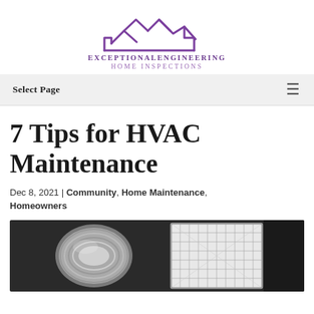[Figure (logo): Exceptional Engineering Home Inspections logo — purple house roofline silhouette with mountain peaks icon above text]
Select Page  ☰
7 Tips for HVAC Maintenance
Dec 8, 2021 | Community, Home Maintenance, Homeowners
[Figure (photo): Close-up photo of HVAC ductwork — a silver metal flexible duct and an air filter with a grid pattern, on a dark background]